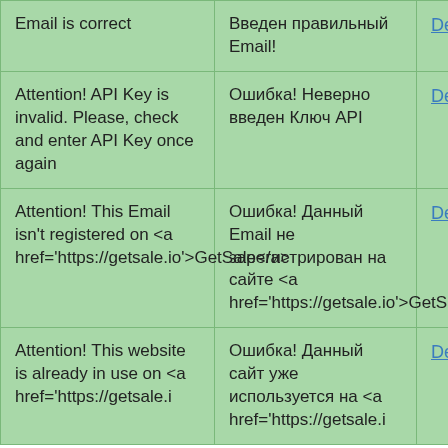| Email is correct | Введен правильный Email! | Details |
| Attention! API Key is invalid. Please, check and enter API Key once again | Ошибка! Неверно введен Ключ API | Details |
| Attention! This Email isn't registered on <a href='https://getsale.io'>GetSale</a> | Ошибка! Данный Email не зарегистрирован на сайте <a href='https://getsale.io'>GetSale</a> | Details |
| Attention! This website is already in use on <a href='https://getsale.i | Ошибка! Данный сайт уже используется на <a href='https://getsale.i | Details |